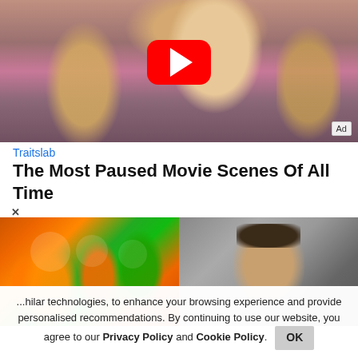[Figure (photo): Advertisement thumbnail showing a blonde woman in a pink outfit seated in a chair, with a YouTube play button overlay and an Ad badge in the bottom right corner.]
Traitslab
The Most Paused Movie Scenes Of All Time
[Figure (photo): Two images side by side: left shows BJP political flags (orange and green) at a rally; right shows a close-up of a person's braided hair from above.]
...hilar technologies, to enhance your browsing experience and provide personalised recommendations. By continuing to use our website, you agree to our Privacy Policy and Cookie Policy.